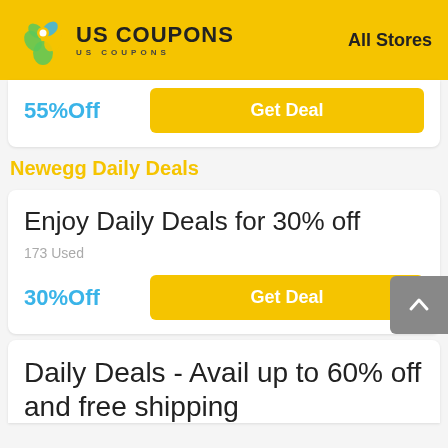US COUPONS  |  All Stores
55%Off
Get Deal
Newegg Daily Deals
Enjoy Daily Deals for 30% off
173 Used
30%Off
Get Deal
Daily Deals - Avail up to 60% off and free shipping